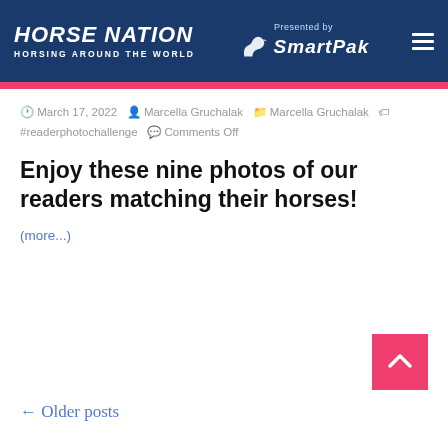HORSE NATION — HORSING AROUND THE WORLD | Presented by SMARTPAK
March 17, 2022  Marcella Gruchalak  Marcella Gruchalak  #readerphotochallenge  Comments Off
Enjoy these nine photos of our readers matching their horses!
(more...)
← Older posts